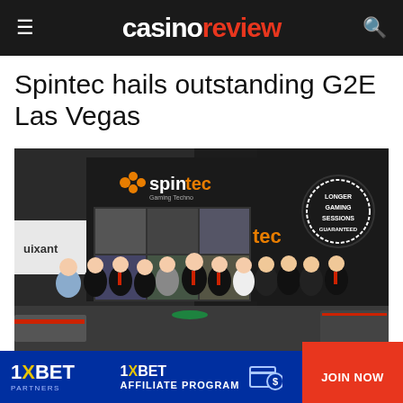casino review
Spintec hails outstanding G2E Las Vegas
[Figure (photo): Group photo of approximately 12 people in formal/business attire standing in front of a Spintec gaming technology exhibition booth at G2E Las Vegas. The booth has the Spintec logo in orange and white, displays showing casino games, and a circular badge reading 'Longer Gaming Sessions Guaranteed'. The Quixant brand is visible on the left side.]
[Figure (infographic): 1XBET Partners affiliate program advertisement banner with blue background, showing 1XBET logo on left, '1XBET AFFILIATE PROGRAM' text with coin/dollar icon in center, and a red 'JOIN NOW' button on the right.]